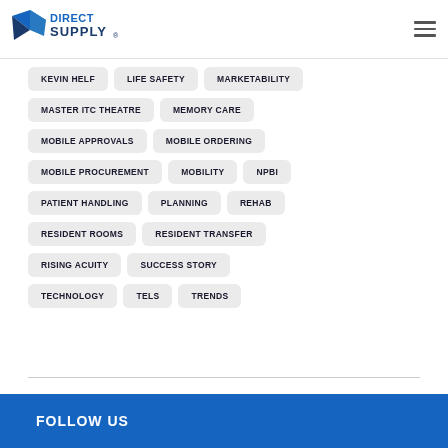[Figure (logo): Direct Supply logo with stylized text and graphic]
KEVIN HELF
LIFE SAFETY
MARKETABILITY
MASTER ITC THEATRE
MEMORY CARE
MOBILE APPROVALS
MOBILE ORDERING
MOBILE PROCUREMENT
MOBILITY
NPBI
PATIENT HANDLING
PLANNING
REHAB
RESIDENT ROOMS
RESIDENT TRANSFER
RISING ACUITY
SUCCESS STORY
TECHNOLOGY
TELS
TRENDS
FOLLOW US